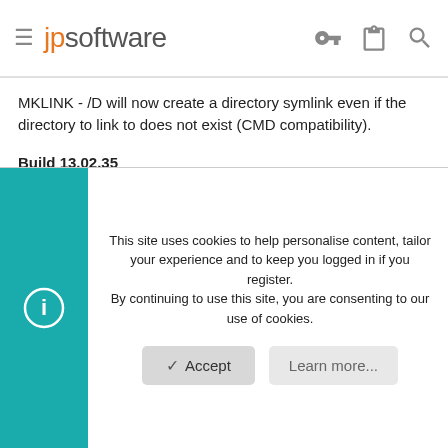jpsoftware
MKLINK - /D will now create a directory symlink even if the directory to link to does not exist (CMD compatibility).
Build 13.02.35
--------------
When using the (clumsy) CMD %~... variable syntax, TCC will not attempt to validate the filename if it is already fully qualified. (For compatibility with CMD when passing invalid drives and/or paths.)
This site uses cookies to help personalise content, tailor your experience and to keep you logged in if you register.
By continuing to use this site, you are consenting to our use of cookies.